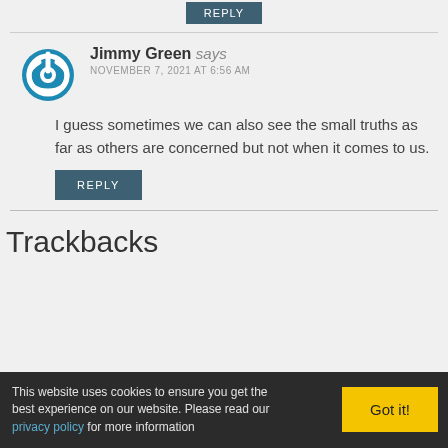REPLY (button at top)
Jimmy Green says NOVEMBER 7, 2021 AT 6:56 AM
I guess sometimes we can also see the small truths as far as others are concerned but not when it comes to us.
REPLY (button)
Trackbacks
This website uses cookies to ensure you get the best experience on our website. Please read our privacy policy for more information Got it!